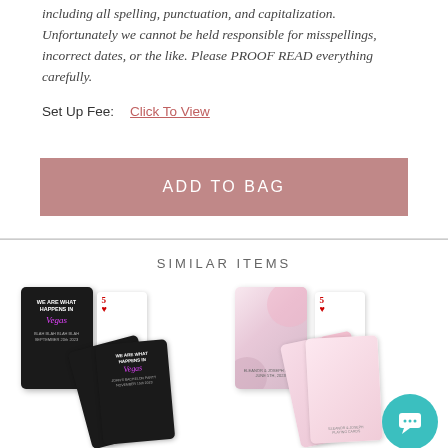including all spelling, punctuation, and capitalization. Unfortunately we cannot be held responsible for misspellings, incorrect dates, or the like. Please PROOF READ everything carefully.
Set Up Fee:  Click To View
ADD TO BAG
SIMILAR ITEMS
[Figure (photo): Two groups of custom playing cards shown as similar items. Left group: black playing cards with 'We Are What Happens In Vegas' text in pink/white, fanned out showing the back design and a face card with hearts. Right group: floral watercolor playing cards fanned out with a face card with hearts, plus a teal chat support bubble icon in the bottom right corner.]